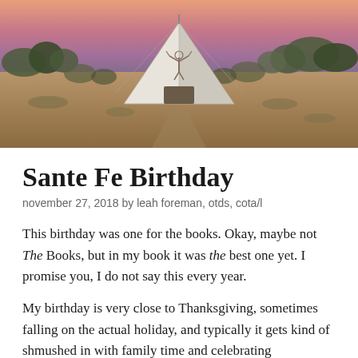[Figure (photo): Outdoor scene at dusk showing a white teepee/tent with a deer or antelope emblem on it, set against a desert scrubland landscape with shrubs and trees, pink and purple sky in the background.]
Sante Fe Birthday
november 27, 2018 by leah foreman, otds, cota/l
This birthday was one for the books. Okay, maybe not The Books, but in my book it was the best one yet. I promise you, I do not say this every year.
My birthday is very close to Thanksgiving, sometimes falling on the actual holiday, and typically it gets kind of shmushed in with family time and celebrating Thanksgiving. None of which I mind — having